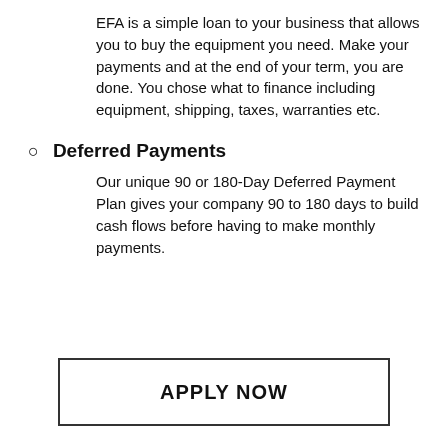EFA is a simple loan to your business that allows you to buy the equipment you need. Make your payments and at the end of your term, you are done. You chose what to finance including equipment, shipping, taxes, warranties etc.
Deferred Payments
Our unique 90 or 180-Day Deferred Payment Plan gives your company 90 to 180 days to build cash flows before having to make monthly payments.
APPLY NOW